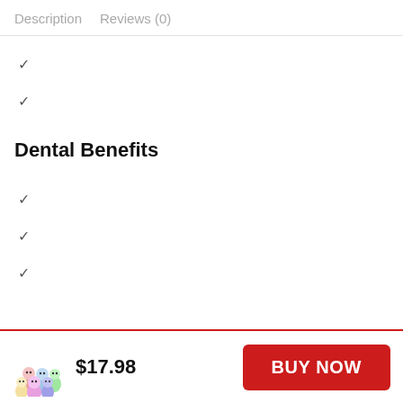Description   Reviews (0)
✓
✓
Dental Benefits
✓
✓
✓
$17.98
BUY NOW